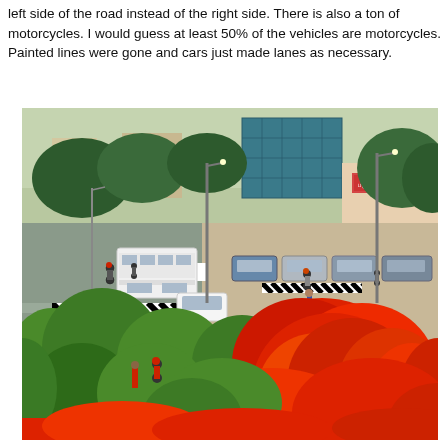left side of the road instead of the right side. There is also a ton of motorcycles. I would guess at least 50% of the vehicles are motorcycles. Painted lines were gone and cars just made lanes as necessary.
[Figure (photo): A busy Indian road scene with a wide divided highway. A white bus and several cars and motorcycles travel on the road. The median has a black-and-white striped barrier. Red flowering trees and green foliage fill the foreground. Commercial buildings and trees are visible in the background. Tamil-script signage is on a shop on the right.]